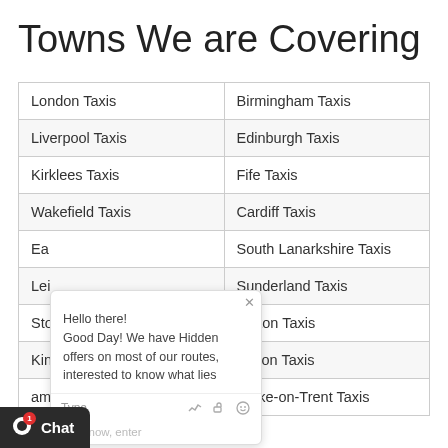Towns We are Covering
| London Taxis | Birmingham Taxis |
| Liverpool Taxis | Edinburgh Taxis |
| Kirklees Taxis | Fife Taxis |
| Wakefield Taxis | Cardiff Taxis |
| Ea... | South Lanarkshire Taxis |
| Lei... | Sunderland Taxis |
| Sto... | Sefton Taxis |
| Kin... Taxis | Bolton Taxis |
| ...am Taxis | Stoke-on-Trent Taxis |
Hello there! Good Day! We have Hidden offers on most of our routes, interested to know what lies
Chat